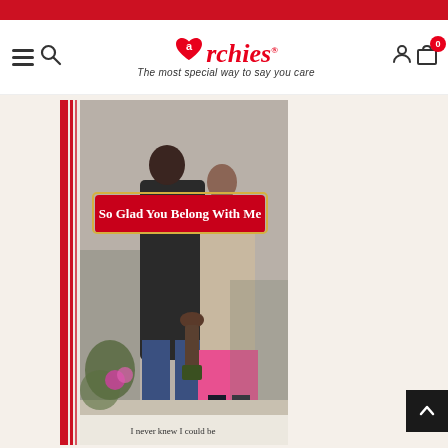Archies - The most special way to say you care
[Figure (photo): Product page showing a greeting card 'So Glad You Belong With Me' featuring a couple holding hands walking on a street, with red ribbon decorations on the card border. Text at bottom reads 'I never knew I could be'.]